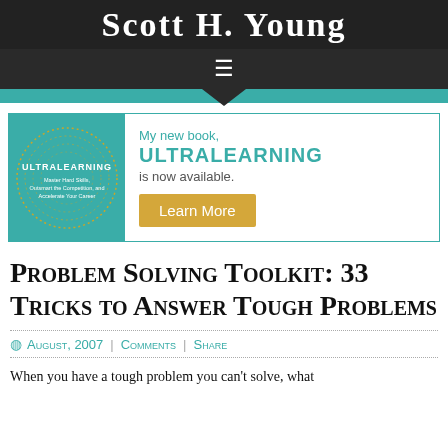Scott H. Young
[Figure (illustration): Book cover for Ultralearning by Scott H. Young, teal background with circular dotted pattern in gold, white text]
My new book, ULTRALEARNING is now available.
Learn More
Problem Solving Toolkit: 33 Tricks to Answer Tough Problems
August, 2007 | Comments | Share
When you have a tough problem you can't solve, what